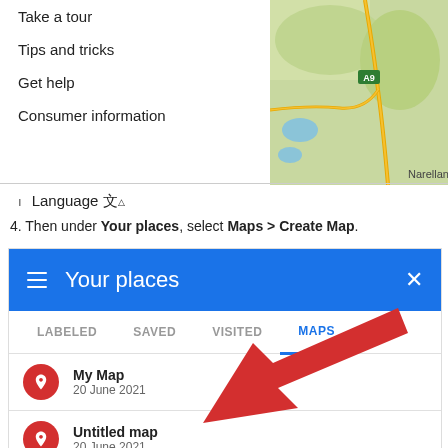Take a tour
Tips and tricks
Get help
Consumer information
Language 文△
4. Then under Your places, select Maps > Create Map.
[Figure (screenshot): Google Maps 'Your places' panel showing LABELED, SAVED, VISITED, MAPS tabs with MAPS tab selected (blue underline). Two map entries: 'My Map' dated 20 June 2021 and 'Untitled map' dated 20 June 2021, each with a red location pin icon. A large red arrow points upward toward the MAPS tab.]
[Figure (map): Partial Google Maps view showing green terrain with road A9 labeled and 'Narellan' visible at right edge]